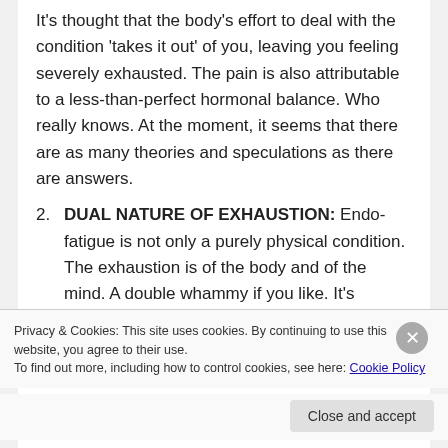It's thought that the body's effort to deal with the condition 'takes it out' of you, leaving you feeling severely exhausted. The pain is also attributable to a less-than-perfect hormonal balance. Who really knows. At the moment, it seems that there are as many theories and speculations as there are answers.
2. DUAL NATURE OF EXHAUSTION: Endo-fatigue is not only a purely physical condition. The exhaustion is of the body and of the mind. A double whammy if you like. It's precious little
Privacy & Cookies: This site uses cookies. By continuing to use this website, you agree to their use.
To find out more, including how to control cookies, see here: Cookie Policy
Close and accept